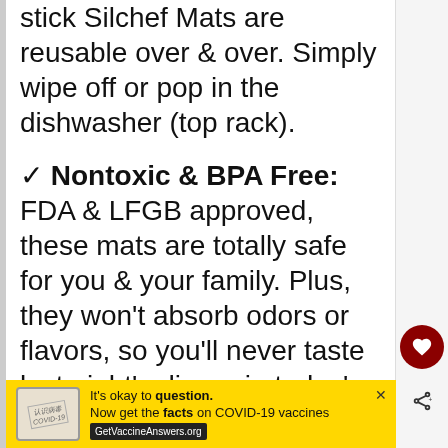stick Silchef Mats are reusable over & over. Simply wipe off or pop in the dishwasher (top rack).
✓ Nontoxic & BPA Free: FDA & LFGB approved, these mats are totally safe for you & your family. Plus, they won't absorb odors or flavors, so you'll never taste last night's dinner in today's meals.
✓ Money-Back Guarantee: Not thrilled with your Silchef Baking
[Figure (screenshot): Advertisement banner: yellow background with COVID-19 vaccine information ad. Text: 'It's okay to question. Now get the facts on COVID-19 vaccines. GetVaccineAnswers.org']